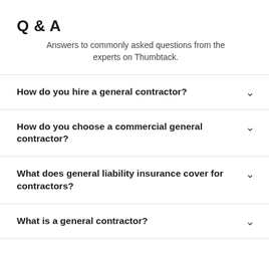Q & A
Answers to commonly asked questions from the experts on Thumbtack.
How do you hire a general contractor?
How do you choose a commercial general contractor?
What does general liability insurance cover for contractors?
What is a general contractor?